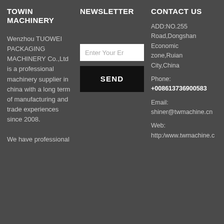TOWIN MACHINERY
NEWSLETTER
CONTACT US
Wenzhou TUOWEI PACKAGING MACHINERY Co.,Ltd is a professional machinery supplier in china with a long term of manufacturing and trade experiences since 2008.

We have professional
Enter Your Er
SEND
ADD:NO.255 Road,Dongshan Economic zone,Ruian City,China Phone: +008613736900583 Email: shiner@twmachine.cn Web: http:/www.twmachine.c